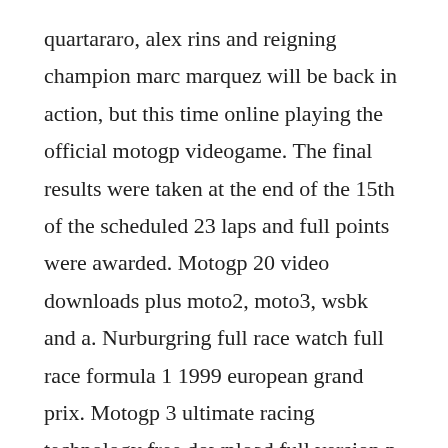quartararo, alex rins and reigning champion marc marquez will be back in action, but this time online playing the official motogp videogame. The final results were taken at the end of the 15th of the scheduled 23 laps and full points were awarded. Motogp 20 video downloads plus moto2, moto3, wsbk and a. Nurburgring full race watch full race formula 1 1999 european grand prix. Motogp 3 ultimate racing technology free download full version p.
He has also finished on the podium at jerez